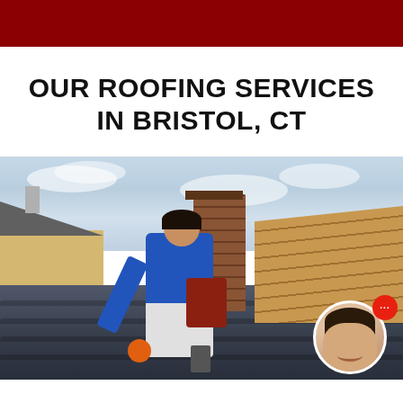OUR ROOFING SERVICES IN BRISTOL, CT
[Figure (photo): A roofer in a blue shirt and work gear kneeling on a roof next to a brick chimney, working on dark roof tiles. Stacks of wooden roof planks visible on the right. A house with a tiled roof visible in the background left. A chat overlay with a woman's avatar in the bottom right corner.]